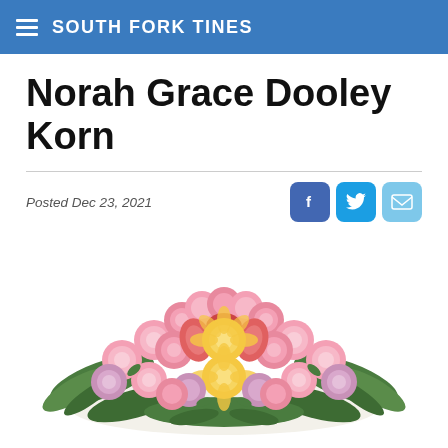SOUTH FORK TINES
Norah Grace Dooley Korn
Posted Dec 23, 2021
[Figure (illustration): A floral arrangement / casket spray featuring pink carnations, pink and red lilies, yellow lilies, purple flowers, and green foliage, viewed from above on a white background.]